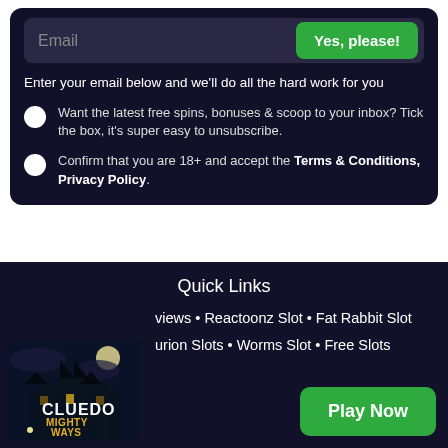Email
Yes, please!
Enter your email below and we'll do all the hard work for you
Want the latest free spins, bonuses & scoop to your inbox? Tick the box, it's super easy to unsubscribe.
Confirm that you are 18+ and accept the Terms & Conditions, Privacy Policy.
Quick Links
views • Reactoonz Slot • Fat Rabbit Slot
urion Slots • Worms Slot • Free Slots
[Figure (screenshot): Cluedo Mighty Ways game thumbnail showing dark mansion scene]
Play Now